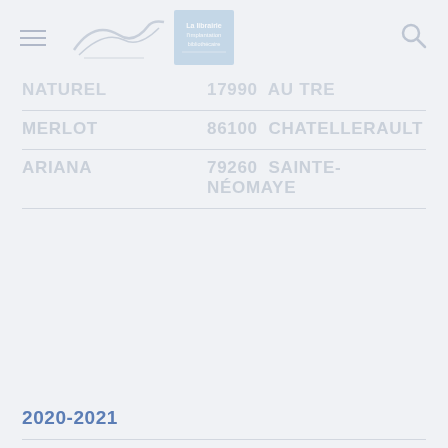Header with navigation and logo
NATUREL
17990  AU TRE
MERLOT
86100  CHATELLERAULT
ARIANA
79260  SAINTE-NÉOMAYE
2020-2021
OMTHEVIA
93100  MONTREUIL